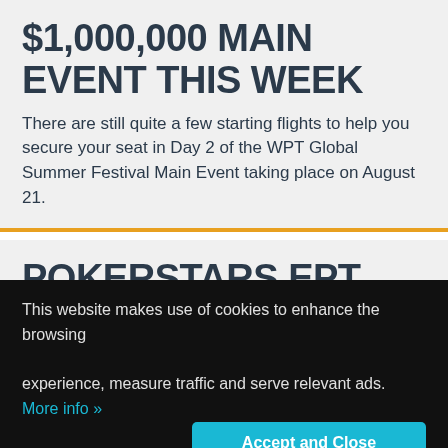$1,000,000 MAIN EVENT THIS WEEK
There are still quite a few starting flights to help you secure your seat in Day 2 of the WPT Global Summer Festival Main Event taking place on August 21.
POKERSTARS EPT BARCELONA MAIN
This website makes use of cookies to enhance the browsing experience, measure traffic and serve relevant ads. More info »